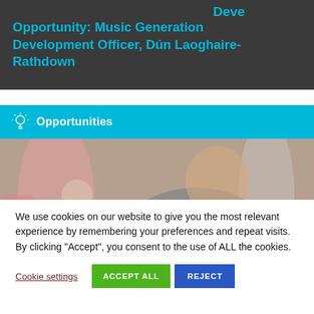Opportunity: Music Generation Development Officer, Dún Laoghaire-Rathdown
Opportunities
[Figure (photo): A person in a grey ruffled top gesturing with their hand open in front of an audience, in a music education setting.]
We use cookies on our website to give you the most relevant experience by remembering your preferences and repeat visits. By clicking “Accept”, you consent to the use of ALL the cookies.
Cookie settings
ACCEPT ALL
REJECT